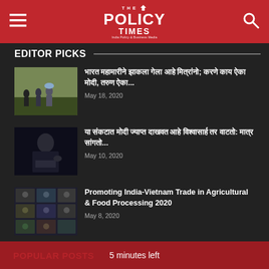THE POLICY TIMES - India Policy & Business Media
EDITOR PICKS
[Figure (photo): People walking with bundles on their heads, migrant workers]
भारत महामारीने झाकला गेला आहे मित्रांनो; करणे काय ऐका मोदी, तरुण ऐका...
May 18, 2020
[Figure (photo): Narendra Modi in dark suit gesturing at a podium]
या संकटात मोदी ज्याप्त दाखवत आहे विश्वासार्ह तर वाटतो: मात्र सांगतो...
May 10, 2020
[Figure (photo): Video conference grid showing multiple participants on screen]
Promoting India-Vietnam Trade in Agricultural & Food Processing 2020
May 8, 2020
POPULAR POSTS  5 minutes left